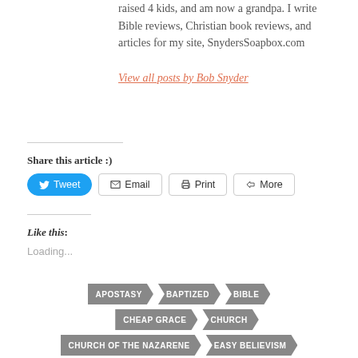raised 4 kids, and am now a grandpa. I write Bible reviews, Christian book reviews, and articles for my site, SnydersSoapbox.com
View all posts by Bob Snyder
Share this article :)
Tweet | Email | Print | More
Like this:
Loading...
APOSTASY | BAPTIZED | BIBLE | CHEAP GRACE | CHURCH | CHURCH OF THE NAZARENE | EASY BELIEVISM | FAITH | FRANCIS CHAN | GOD | JESUS